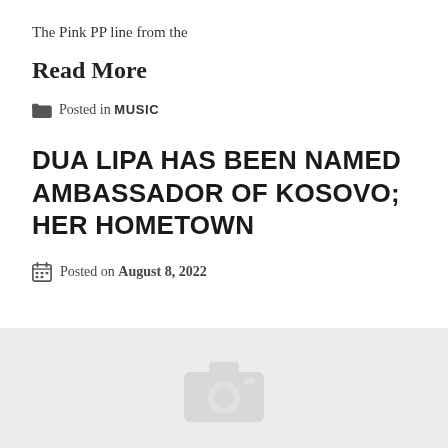The Pink PP line from the
Read More
Posted in MUSIC
DUA LIPA HAS BEEN NAMED AMBASSADOR OF KOSOVO; HER HOMETOWN
Posted on August 8, 2022
[Figure (photo): Placeholder image area with camera icon on grey background]